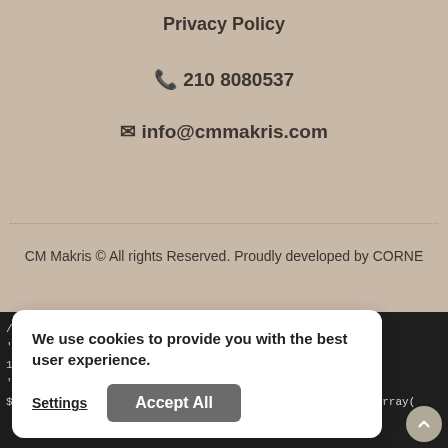Privacy Policy
📞 210 8080537
✉ info@cmmakris.com
CM Makris © All rights reserved. Proudly developed by CORNE
[Figure (screenshot): Cookie consent banner with 'We use cookies to provide you with the best user experience.' text, Settings link, and Accept All button overlaid on a dark code editor background showing PHP code snippets]
//h    Products add_filter(
'w    ariable_product_price',
10    e_html',
'Iw    variable_produc    e(
$v_price, $v_product) { // Product Price $prod_prices = array(